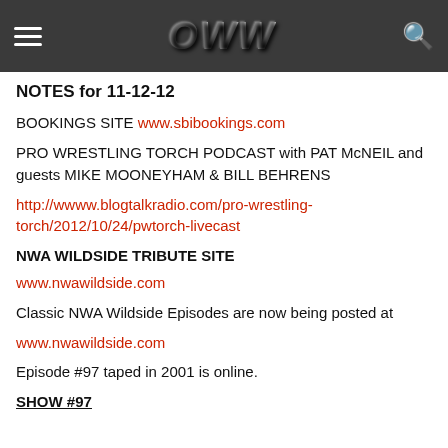OWW
NOTES for 11-12-12
BOOKINGS SITE www.sbibookings.com
PRO WRESTLING TORCH PODCAST with PAT McNEIL and guests MIKE MOONEYHAM & BILL BEHRENS
http://wwww.blogtalkradio.com/pro-wrestling-torch/2012/10/24/pwtorch-livecast
NWA WILDSIDE TRIBUTE SITE
www.nwawildside.com
Classic NWA Wildside Episodes are now being posted at
www.nwawildside.com
Episode #97 taped in 2001 is online.
SHOW #97